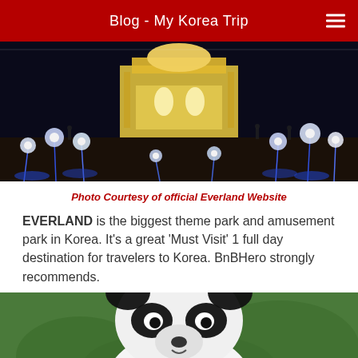Blog - My Korea Trip
[Figure (photo): Night photo of an illuminated palace/castle structure with glowing white flower light installations in the foreground at Everland theme park, Korea]
Photo Courtesy of official Everland Website
EVERLAND is the biggest theme park and amusement park in Korea. It's a great 'Must Visit' 1 full day destination for travelers to Korea. BnBHero strongly recommends.
[Figure (photo): Close-up photo of a giant panda looking at the camera, with green foliage in the background]